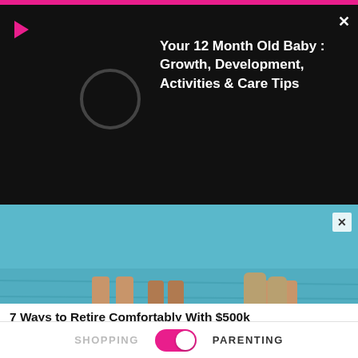[Figure (screenshot): Pink top navigation bar of a mobile app]
[Figure (screenshot): Video overlay popup with black background showing play button icon and spinner circle on left, and text 'Your 12 Month Old Baby : Growth, Development, Activities & Care Tips' on right with white X close button]
Your 12 Month Old Baby : Growth, Development, Activities & Care Tips
[Figure (photo): Paddle board advertisement image showing feet on paddle boards over teal/blue water with X close button]
7 Ways to Retire Comfortably With $500k
Fisher Investments
[Figure (photo): Man rubbing his eyes with glasses pushed up on forehead against gray background]
SHOPPING   [toggle]   PARENTING